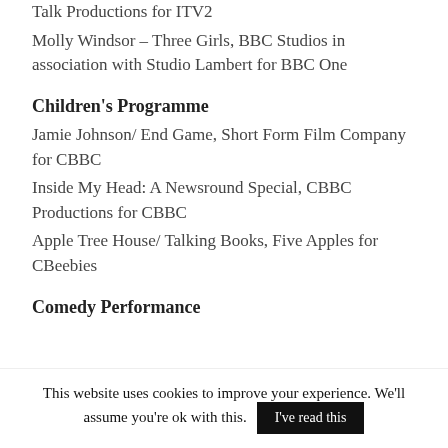Talk Productions for ITV2
Molly Windsor – Three Girls, BBC Studios in association with Studio Lambert for BBC One
Children's Programme
Jamie Johnson/ End Game, Short Form Film Company for CBBC
Inside My Head: A Newsround Special, CBBC Productions for CBBC
Apple Tree House/ Talking Books, Five Apples for CBeebies
Comedy Performance
This website uses cookies to improve your experience. We'll assume you're ok with this.
I've read this